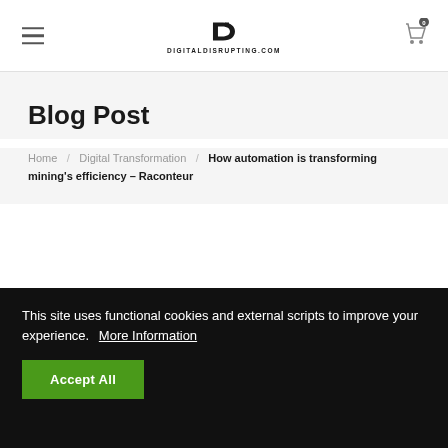DIGITALDISRUPTING.COM
Blog Post
Home / Digital Transformation / How automation is transforming mining's efficiency – Raconteur
FINANCING NEW TECH
Percentage of mining sectors' capital allocated
This site uses functional cookies and external scripts to improve your experience. More Information
Accept All